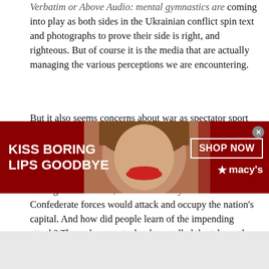Verbatim or Above Audio: mental gymnastics are coming into play as both sides in the Ukrainian conflict spin text and photographs to prove their side is right, and righteous. But of course it is the media that are actually managing the various perceptions we are encountering.
But it also seems concerns about war as spectator sport are more a part of the discussion than ever. But once again, the perception simply does not match the reality.
During the Civil War, there was a very real fear Confederate forces would attack and occupy the nation's capital. And how did people learn of the impending attack? Through a new technology called the telegraph.
[Figure (screenshot): Advertisement banner for Macy's cosmetics. Dark red background with white bold text 'KISS BORING LIPS GOODBYE' on the left, a photo of a woman with red lips in the center, and a 'SHOP NOW' button with the Macy's star logo on the right.]